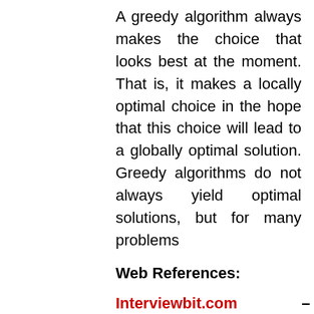A greedy algorithm always makes the choice that looks best at the moment. That is, it makes a locally optimal choice in the hope that this choice will lead to a globally optimal solution. Greedy algorithms do not always yield optimal solutions, but for many problems
Web References:
Interviewbit.com –Data structures and Algorithms Interview Questions